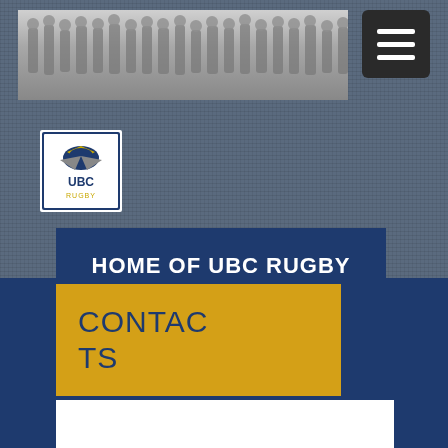[Figure (photo): Black and white team photo of rugby players lined up in a row, used as a website banner header]
[Figure (logo): UBC Rugby logo with eagle and UBC text]
HOME OF UBC RUGBY
CONTACTS